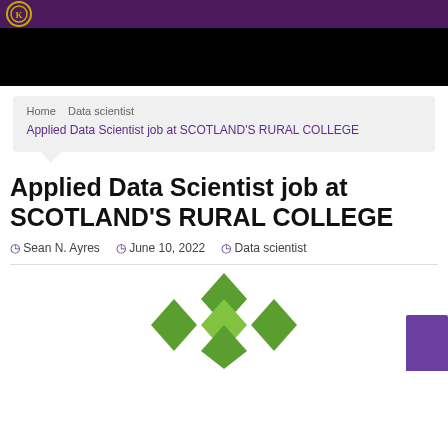[Figure (illustration): Black navigation bar]
Home  Data scientist  Applied Data Scientist job at SCOTLAND'S RURAL COLLEGE
Applied Data Scientist job at SCOTLAND'S RURAL COLLEGE
Sean N. Ayres   June 10, 2022   Data scientist
[Figure (logo): SRUC Scotland's Rural University College logo with green diamond cross pattern]